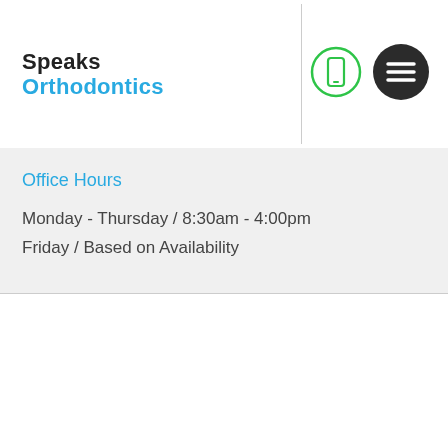[Figure (logo): Speaks Orthodontics logo with black 'Speaks' text and blue 'Orthodontics' text]
[Figure (illustration): Green circle outline with white smartphone icon inside]
[Figure (illustration): Dark circle with three horizontal white lines (hamburger menu icon)]
Office Hours
Monday - Thursday / 8:30am - 4:00pm
Friday / Based on Availability